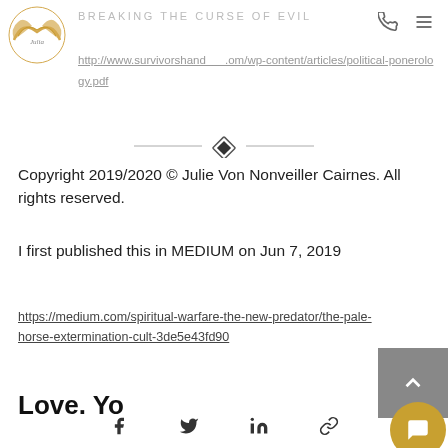BREAKING THE CURSE OF EVIL
[Figure (logo): Website logo - golden bird/phoenix wings with cursive text]
http://www.survivorshand....om/wp-content/articles/political-ponerology.pdf
[Figure (illustration): Decorative diamond divider with horizontal lines]
Copyright 2019/2020 © Julie Von Nonveiller Cairnes. All rights reserved.
I first published this in MEDIUM on Jun 7, 2019
https://medium.com/spiritual-warfare-the-new-predator/the-pale-horse-extermination-cult-3de5e43fd90
Love. Yo...
Social share icons: Facebook, Twitter, LinkedIn, Link